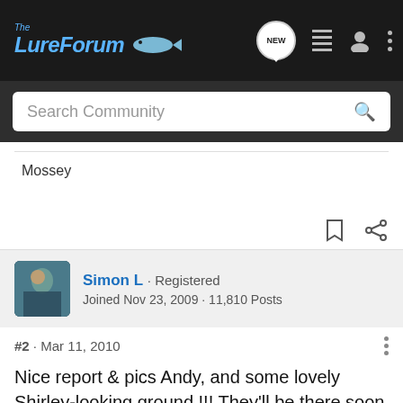The LureForum
Search Community
Mossey
Simon L · Registered
Joined Nov 23, 2009 · 11,810 Posts
#2 · Mar 11, 2010
Nice report & pics Andy, and some lovely Shirley-looking ground !!! They'll be there soon !!
[Figure (screenshot): Advertisement banner: YOUR NEW FAVORITE SPORT - EXPLORE HOW TO RESPONSIBLY PARTICIPATE IN THE SHOOTING SPORTS. START HERE!]
The cas... from Dibi...